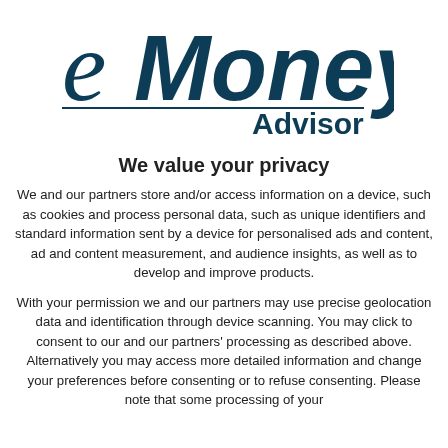[Figure (logo): eMoney Advisor logo — italic 'e' followed by bold 'Money' in dark teal, with 'Advisor' in bold dark teal below and to the right, separated by a horizontal line]
We value your privacy
We and our partners store and/or access information on a device, such as cookies and process personal data, such as unique identifiers and standard information sent by a device for personalised ads and content, ad and content measurement, and audience insights, as well as to develop and improve products.
With your permission we and our partners may use precise geolocation data and identification through device scanning. You may click to consent to our and our partners' processing as described above. Alternatively you may access more detailed information and change your preferences before consenting or to refuse consenting. Please note that some processing of your